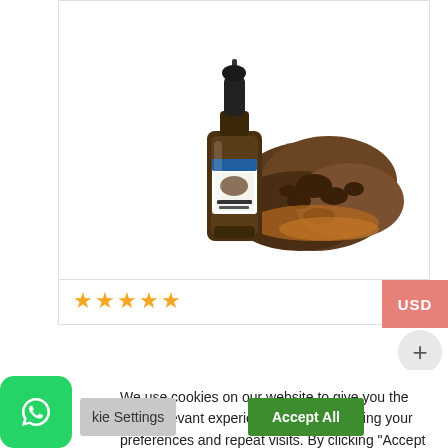[Figure (photo): Product photo of a dark glass dropper bottle (tincture) with a label featuring a chaga mushroom image, placed next to raw dark chaga mushroom pieces on a white background.]
★★★★★
USD
We use cookies on our website to give you the most relevant experience by remembering your preferences and repeat visits. By clicking "Accept All", you consent to the use of ALL the cookies. However, you may visit "Cookie Settings" to provide a controlled consent.
kie Settings
Accept All